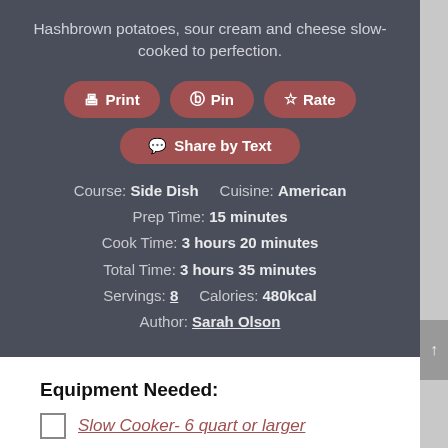Hashbrown potatoes, sour cream and cheese slow-cooked to perfection.
Print | Pin | Rate | Share by Text
Course: Side Dish   Cuisine: American
Prep Time: 15 minutes
Cook Time: 3 hours 20 minutes
Total Time: 3 hours 35 minutes
Servings: 8   Calories: 480kcal
Author: Sarah Olson
Equipment Needed:
Slow Cooker- 6 quart or larger